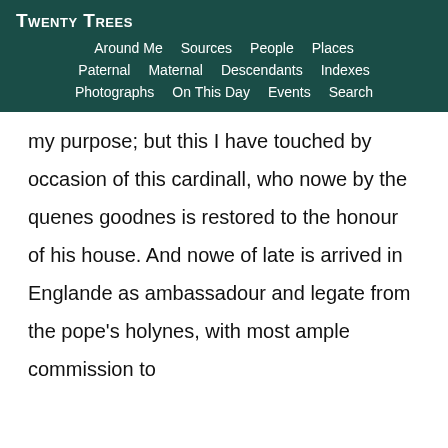Twenty Trees
Around Me  Sources  People  Places  Paternal  Maternal  Descendants  Indexes  Photographs  On This Day  Events  Search
my purpose; but this I have touched by occasion of this cardinall, who nowe by the quenes goodnes is restored to the honour of his house. And nowe of late is arrived in Englande as ambassadour and legate from the pope's holynes, with most ample commission to